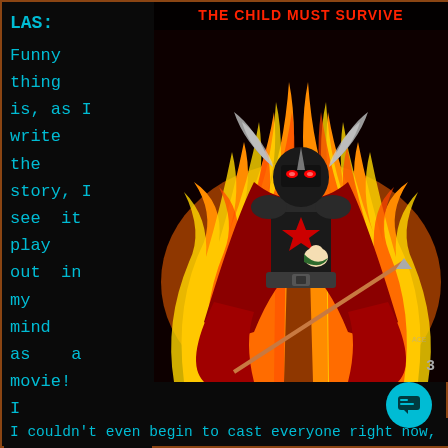LAS: Funny thing is, as I write the story, I see it play out in my mind as a movie! I couldn't even begin to cast everyone right now,
[Figure (illustration): Comic book style illustration of a dark armored warrior with winged helmet, red glowing eyes, red star on chest, holding a staff/spear, set against a background of flames. Text at top reads 'THE CHILD MUST SURVIVE'. Page number 3 at bottom right.]